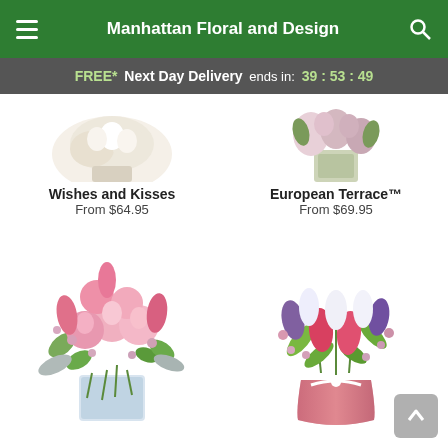Manhattan Floral and Design
FREE* Next Day Delivery ends in: 39 : 53 : 49
[Figure (photo): Partial view of two floral arrangements at top: left is white/cream arrangement, right is a vase with pink flowers]
Wishes and Kisses
From $64.95
European Terrace™
From $69.95
[Figure (photo): Pink roses and tulips bouquet in a clear glass vase]
[Figure (photo): Mixed tulips (purple, pink, white) with wax flowers in a pink vase with white ribbon]